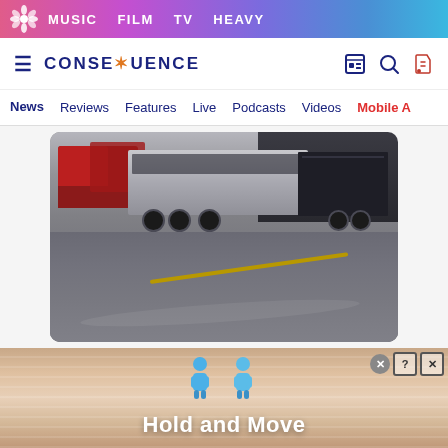MUSIC  FILM  TV  HEAVY
CONSEQUENCE
News  Reviews  Features  Live  Podcasts  Videos  Mobile A
[Figure (photo): A rainy parking lot scene showing a red tow truck and a silver/dark tour bus with a black trailer attached. The wet asphalt shows yellow road markings.]
[Figure (screenshot): Advertisement banner at bottom showing blue cartoon figures and text 'Hold and Move' on a wood-grain background with close/question/X buttons.]